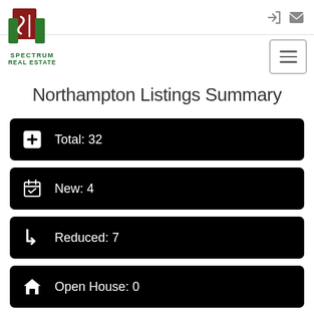[Figure (logo): Spectrum Real Estate logo with green and maroon building icon]
Northampton Listings Summary
Total: 32
New: 4
Reduced: 7
Open House: 0